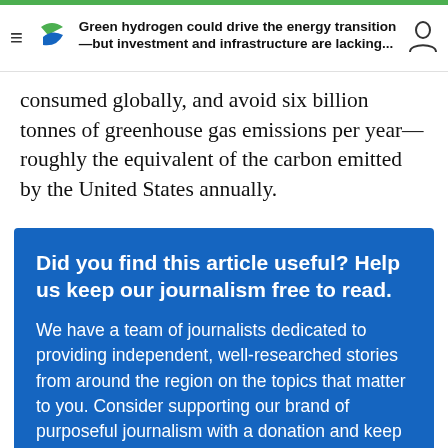Green hydrogen could drive the energy transition—but investment and infrastructure are lacking...
consumed globally, and avoid six billion tonnes of greenhouse gas emissions per year—roughly the equivalent of the carbon emitted by the United States annually.
Did you find this article useful? Help us keep our journalism free to read.
We have a team of journalists dedicated to providing independent, well-researched stories from around the region on the topics that matter to you. Consider supporting our brand of purposeful journalism with a donation and keep Eco-Business free for all to read. Thank you.
Find out more and join The EB Circle →